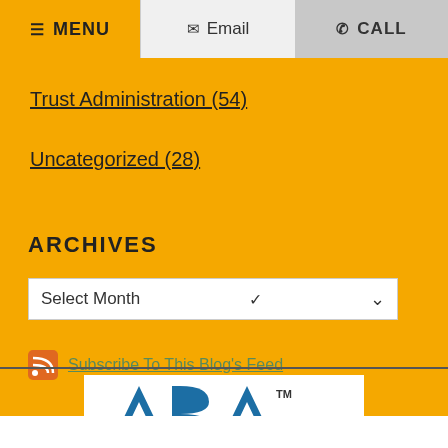≡ MENU  ✉ Email  ✆ CALL
Trust Administration (54)
Uncategorized (28)
ARCHIVES
Select Month
Subscribe To This Blog's Feed
[Figure (logo): ABA (American Bar Association) logo with blue letters and orange/teal accent at bottom, with TM superscript]